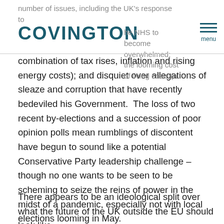number of issues, including the UK's response to
COVINGTON
he NHS to become overwhelmed; the looming cost of living crisis (a
menu
combination of tax rises, inflation and rising energy costs); and disquiet over allegations of sleaze and corruption that have recently bedeviled his Government.  The loss of two recent by-elections and a succession of poor opinion polls mean rumblings of discontent have begun to sound like a potential Conservative Party leadership challenge – though no one wants to be seen to be scheming to seize the reins of power in the midst of a pandemic, especially not with local elections looming in May.
There appears to be an ideological split over what the future of the UK outside the EU should look like.